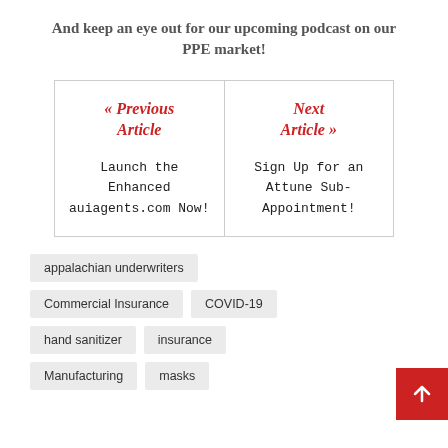And keep an eye out for our upcoming podcast on our PPE market!
« Previous Article
Launch the Enhanced auiagents.com Now!
Next Article »
Sign Up for an Attune Sub-Appointment!
appalachian underwriters
Commercial Insurance
COVID-19
hand sanitizer
insurance
Manufacturing
masks